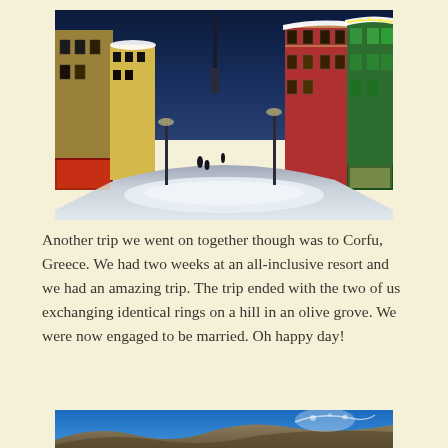[Figure (photo): Night scene of a snow-covered European village street with colorful illuminated buildings on both sides, a church spire visible in the background, and snow piled on the ground and rooftops.]
Another trip we went on together though was to Corfu, Greece.  We had two weeks at an all-inclusive resort and we had an amazing trip.  The trip ended with the two of us exchanging identical rings on a hill in an olive grove.  We were now engaged to be married.  Oh happy day!
[Figure (photo): Partial view of a sunny outdoor scene, appears to be a rocky or natural landscape with blue sky.]